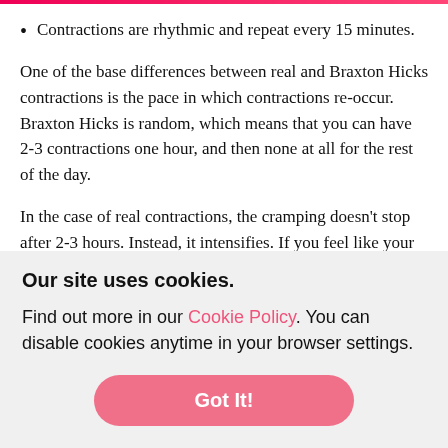Contractions are rhythmic and repeat every 15 minutes.
One of the base differences between real and Braxton Hicks contractions is the pace in which contractions re-occur. Braxton Hicks is random, which means that you can have 2-3 contractions one hour, and then none at all for the rest of the day.
In the case of real contractions, the cramping doesn't stop after 2-3 hours. Instead, it intensifies. If you feel like your contractions are becoming regular or more intense past 2 hours, make sure to get medical help.
Our site uses cookies.
Find out more in our Cookie Policy. You can disable cookies anytime in your browser settings.
Got It!